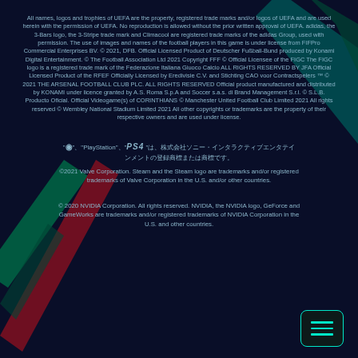All names, logos and trophies of UEFA are the property, registered trade marks and/or logos of UEFA and are used herein with the permission of UEFA. No reproduction is allowed without the prior written approval of UEFA.  adidas, the 3-Bars logo, the 3-Stripe trade mark and Climacool are registered trade marks of the adidas Group, used with permission.  The use of images and names of the football players in this game is under license from FIFPro Commercial Enterprises BV.  © 2021, DFB. Official Licensed Product of Deutscher Fußball-Bund produced by Konami Digital Entertainment.  © The Football Association Ltd 2021  Copyright FFF ©  Official Licensee of the FIGC The FIGC logo is a registered trade mark of the Federazione Italiana Giuoco Calcio  ALL RIGHTS RESERVED BY JFA  Official Licensed Product of the RFEF  Officially Licensed by Eredivisie C.V. and Stichting CAO voor Contractspelers  ™ © 2021 THE ARSENAL FOOTBALL CLUB PLC. ALL RIGHTS RESERVED  Official product manufactured and distributed by KONAMI under licence granted by A.S. Roma S.p.A and Soccer s.a.s. di Brand Management S.r.l.  © S.L.B. Producto Oficial.  Official Videogame(s) of CORINTHIANS  © Manchester United Football Club Limited 2021 All rights reserved  © Wembley National Stadium Limited 2021  All other copyrights or trademarks are the property of their respective owners and are used under license.
"  "、"PlayStation"、"PS4 "は、株式会社ソニー・インタラクティブエンタテインメントの登録商標または商標です。
©2021 Valve Corporation. Steam and the Steam logo are trademarks and/or registered trademarks of Valve Corporation in the U.S. and/or other countries.
© 2020 NVIDIA Corporation. All rights reserved. NVIDIA, the NVIDIA logo, GeForce and GameWorks are trademarks and/or registered trademarks of NVIDIA Corporation in the U.S. and other countries.